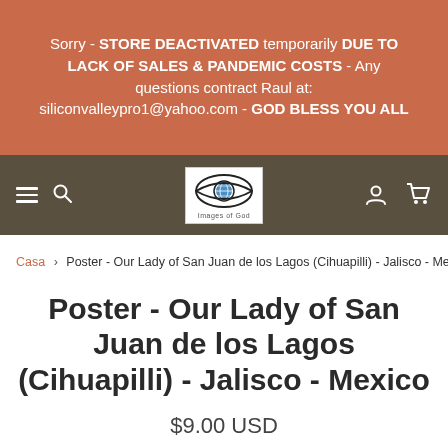Sorry - STORE DEACTIVATED temporarily DUE TO LACK OF SALES & PANDEMIC COSTS - Any questions contract Raul at: siliconvalleypro1@yahoo.com - GOD BLESS YOU ALL
[Figure (logo): Navigation bar with hamburger menu, search icon, eye-with-globe logo labeled Images of God, user icon, and cart icon on dark brown background]
Casa > Poster - Our Lady of San Juan de los Lagos (Cihuapilli) - Jalisco - Mexico
Poster - Our Lady of San Juan de los Lagos (Cihuapilli) - Jalisco - Mexico
$9.00 USD